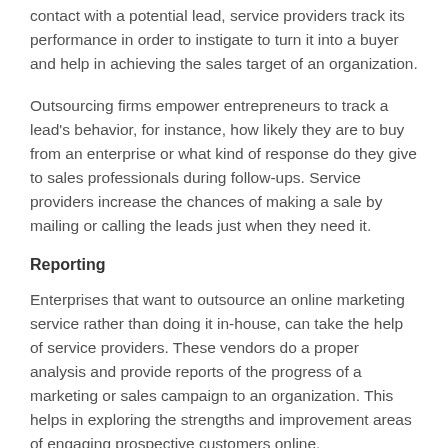contact with a potential lead, service providers track its performance in order to instigate to turn it into a buyer and help in achieving the sales target of an organization.
Outsourcing firms empower entrepreneurs to track a lead's behavior, for instance, how likely they are to buy from an enterprise or what kind of response do they give to sales professionals during follow-ups. Service providers increase the chances of making a sale by mailing or calling the leads just when they need it.
Reporting
Enterprises that want to outsource an online marketing service rather than doing it in-house, can take the help of service providers. These vendors do a proper analysis and provide reports of the progress of a marketing or sales campaign to an organization. This helps in exploring the strengths and improvement areas of engaging prospective customers online.